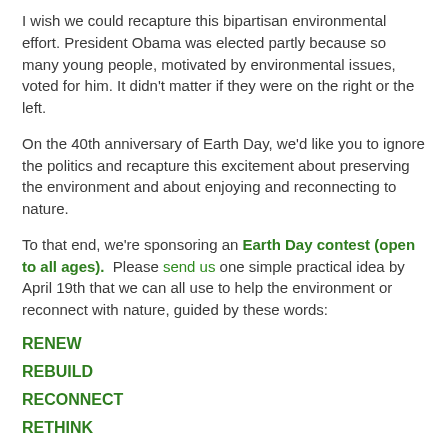I wish we could recapture this bipartisan environmental effort. President Obama was elected partly because so many young people, motivated by environmental issues, voted for him. It didn't matter if they were on the right or the left.
On the 40th anniversary of Earth Day, we'd like you to ignore the politics and recapture this excitement about preserving the environment and about enjoying and reconnecting to nature.
To that end, we're sponsoring an Earth Day contest (open to all ages). Please send us one simple practical idea by April 19th that we can all use to help the environment or reconnect with nature, guided by these words:
RENEW
REBUILD
RECONNECT
RETHINK